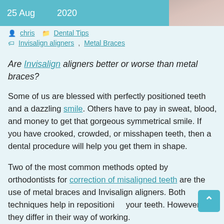25 Aug  2020
chris   Dental Tips
Invisalign aligners, Metal Braces
Are Invisalign aligners better or worse than metal braces?
Some of us are blessed with perfectly positioned teeth and a dazzling smile. Others have to pay in sweat, blood, and money to get that gorgeous symmetrical smile. If you have crooked, crowded, or misshapen teeth, then a dental procedure will help you get them in shape.
Two of the most common methods opted by orthodontists for correction of misaligned teeth are the use of metal braces and Invisalign aligners. Both techniques help in repositioning your teeth. However, they differ in their way of working.